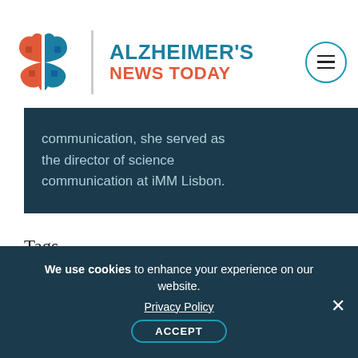[Figure (logo): Alzheimer's News Today logo with brain icon, brand name in teal and orange]
communication, she served as the director of science communication at iMM Lisbon.
Tags
ApoE4, cholesterol, dementia, Kuopio Ischaemic Heart Disease Risk Factor Study
We use cookies to enhance your experience on our website. Privacy Policy ACCEPT